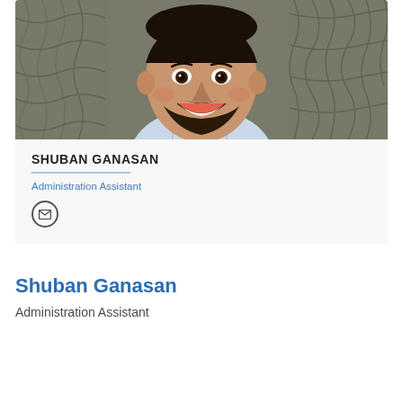[Figure (illustration): Caricature illustration of Shuban Ganasan, a smiling man with beard wearing a light blue striped shirt, set against a grey textured background with woven/basket pattern]
SHUBAN GANASAN
Administration Assistant
[Figure (other): Email icon: envelope symbol inside a circle]
Shuban Ganasan
Administration Assistant